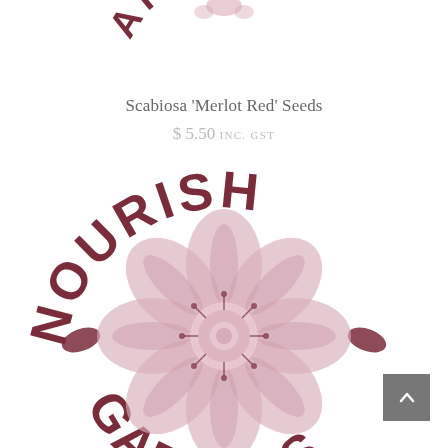[Figure (logo): Partial circular logo showing 'ARDEN' text arc at top, part of Nourish Gardens logo]
Scabiosa 'Merlot Red' Seeds
$ 5.50 INC. GST
[Figure (logo): Nourish Gardens circular logo with large pink flower in center, 'NOURISH' arced at top, 'GARDENS' arced at bottom, decorative leaf elements on sides]